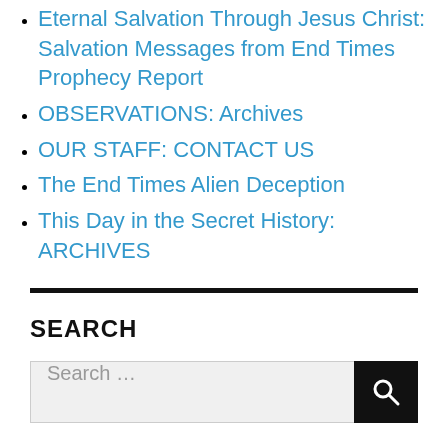Eternal Salvation Through Jesus Christ: Salvation Messages from End Times Prophecy Report
OBSERVATIONS: Archives
OUR STAFF: CONTACT US
The End Times Alien Deception
This Day in the Secret History: ARCHIVES
SEARCH
Search ...